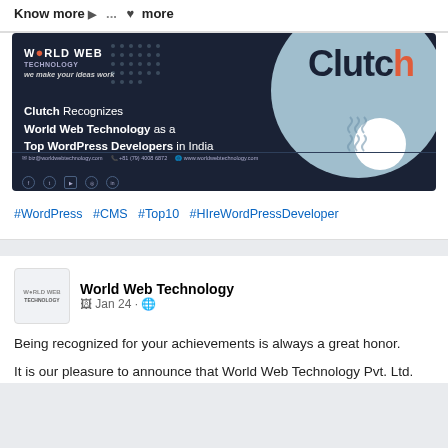Know more ▶ ...  ♥ more
[Figure (illustration): World Web Technology promotional banner: dark navy background with large light blue circle and Clutch logo text. Text reads: Clutch Recognizes World Web Technology as a Top WordPress Developers in India. Contact info and social icons at bottom.]
#WordPress  #CMS  #Top10  #HIreWordPressDeveloper
World Web Technology
Jan 24 · 🌐
Being recognized for your achievements is always a great honor.
It is our pleasure to announce that World Web Technology Pvt. Ltd.